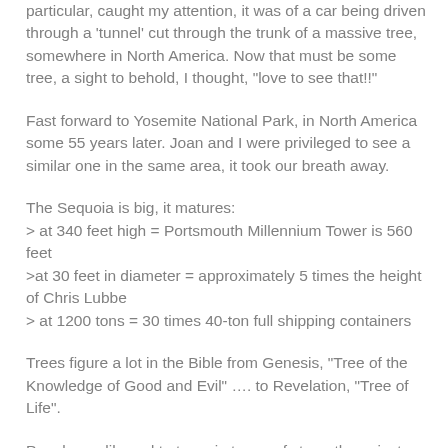particular, caught my attention, it was of a car being driven through a 'tunnel' cut through the trunk of a massive tree, somewhere in North America. Now that must be some tree, a sight to behold, I thought, "love to see that!!"
Fast forward to Yosemite National Park, in North America some 55 years later. Joan and I were privileged to see a similar one in the same area, it took our breath away.
The Sequoia is big, it matures:
> at 340 feet high = Portsmouth Millennium Tower is 560 feet
>at 30 feet in diameter = approximately 5 times the height of Chris Lubbe
> at 1200 tons = 30 times 40-ton full shipping containers
Trees figure a lot in the Bible from Genesis, "Tree of the Knowledge of Good and Evil" .... to Revelation, "Tree of Life".
People are likened to trees in terms of strength, majesty, beauty… etc! Worth a study?